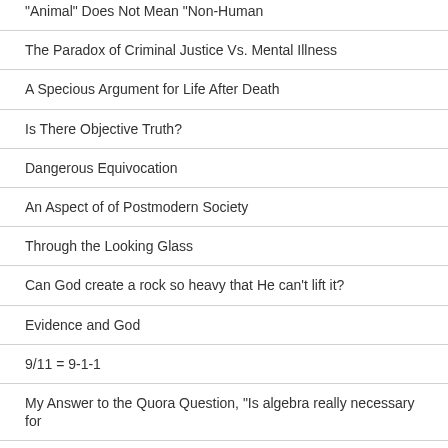“Animal” Does Not Mean “Non-Human
The Paradox of Criminal Justice Vs. Mental Illness
A Specious Argument for Life After Death
Is There Objective Truth?
Dangerous Equivocation
An Aspect of of Postmodern Society
Through the Looking Glass
Can God create a rock so heavy that He can’t lift it?
Evidence and God
9/11 = 9-1-1
My Answer to the Quora Question, “Is algebra really necessary for